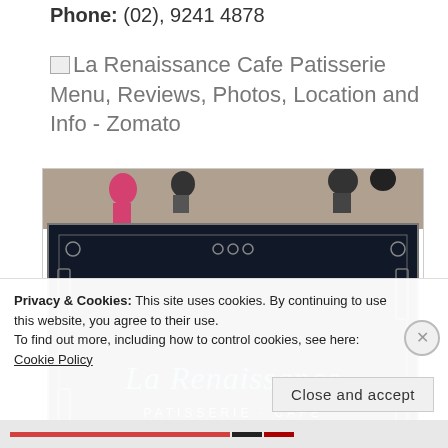Phone: (02), 9241 4878
La Renaissance Cafe Patisserie Menu, Reviews, Photos, Location and Info - Zomato
[Figure (photo): Photo of a dark chalkboard sign for La Renaissance Patisserie Cafe, showing 'NOW OPEN' and 'WELCOME - BIENVENUE', with palm plants on each side]
Privacy & Cookies: This site uses cookies. By continuing to use this website, you agree to their use.
To find out more, including how to control cookies, see here: Cookie Policy
Close and accept